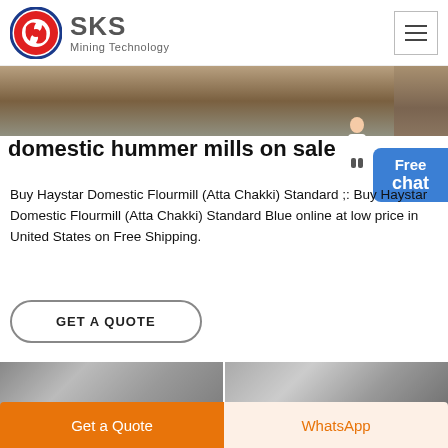[Figure (logo): SKS Mining Technology logo with red and blue circular emblem and company name]
[Figure (photo): Top banner photo showing gravel/mining site]
domestic hummer mills on sale
[Figure (illustration): Customer service assistant figure in white blazer]
Buy Haystar Domestic Flourmill (Atta Chakki) Standard ;: Buy Haystar Domestic Flourmill (Atta Chakki) Standard Blue online at low price in United States on Free Shipping.
GET A QUOTE
[Figure (photo): Two bottom photos showing industrial mill/factory interior]
Get a Quote
WhatsApp